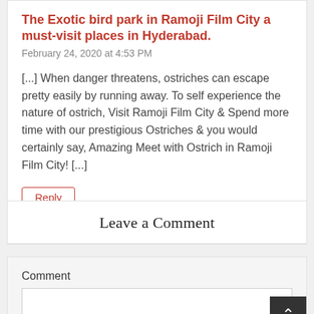The Exotic bird park in Ramoji Film City a must-visit places in Hyderabad.
February 24, 2020 at 4:53 PM
[...] When danger threatens, ostriches can escape pretty easily by running away. To self experience the nature of ostrich, Visit Ramoji Film City & Spend more time with our prestigious Ostriches & you would certainly say, Amazing Meet with Ostrich in Ramoji Film City! [...]
Reply
Leave a Comment
Comment